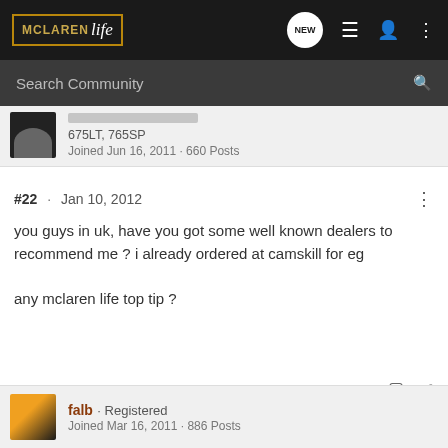McLaren Life · NEW · navigation icons
Search Community
675LT, 765SP
Joined Jun 16, 2011 · 660 Posts
#22 · Jan 10, 2012
you guys in uk, have you got some well known dealers to recommend me ? i already ordered at camskill for eg

any mclaren life top tip ?
falb · Registered
Joined Mar 16, 2011 · 886 Posts